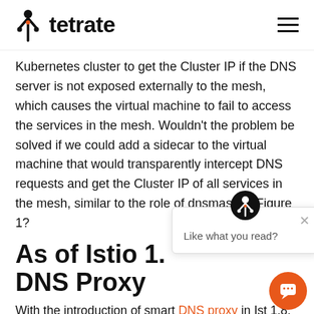tetrate
Kubernetes cluster to get the Cluster IP if the DNS server is not exposed externally to the mesh, which causes the virtual machine to fail to access the services in the mesh. Wouldn't the problem be solved if we could add a sidecar to the virtual machine that would transparently intercept DNS requests and get the Cluster IP of all services in the mesh, similar to the role of dnsmasq in Figure 1?
As of Istio 1. DNS Proxy
With the introduction of smart DNS proxy in Ist 1.8, virtual machines can access services within the mesh without the need to configure /etc/hosts, as shown in the following figure.